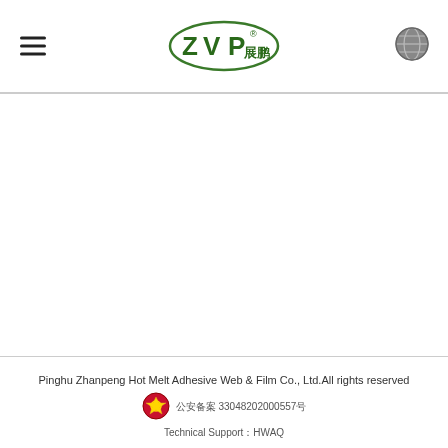ZVP 展鹏 logo with hamburger menu and globe icon
[Figure (logo): ZVP 展鹏 company logo — green oval outline with ZVP text and Chinese characters 展鹏 inside]
Pinghu Zhanpeng Hot Melt Adhesive Web & Film Co., Ltd.All rights reserved
公安备案 33048202000557号
Technical Support：HWAQ